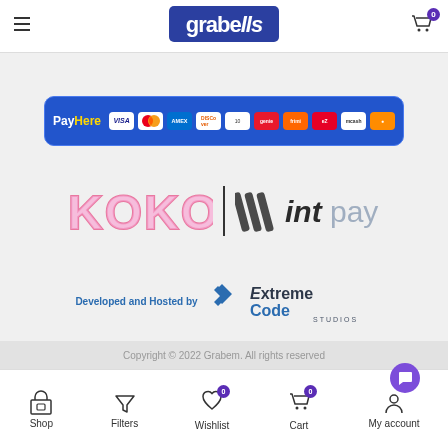[Figure (logo): Grabem logo in white text on dark blue background, top center of header]
[Figure (logo): PayHere payment banner with VISA, MasterCard, Amex, Discover, and various other payment method icons on blue background]
[Figure (logo): KOKO logo (pink letters) and intpay logo (dark italic text with colored lines) separated by vertical bar]
[Figure (logo): Developed and Hosted by ExtremeCode Studios logo]
Copyright © 2022 Grabem. All rights reserved
[Figure (infographic): Bottom navigation bar with Shop, Filters, Wishlist (badge 0), Cart (badge 0), My account icons]